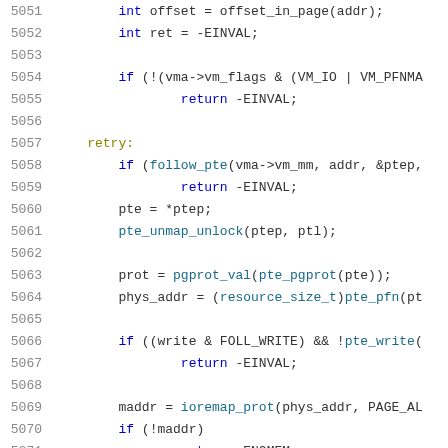[Figure (screenshot): Source code listing showing lines 5051-5072 of a C kernel file with syntax highlighting. Line numbers in gray on left, keywords in blue, function calls in teal/cyan, labels in olive.]